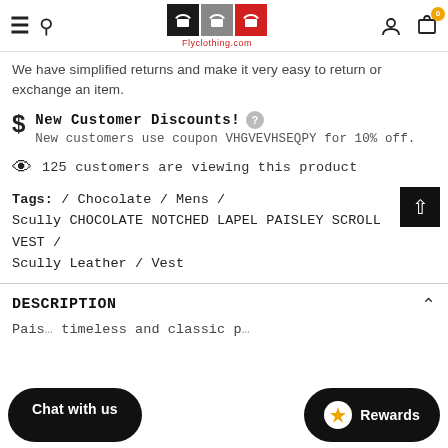Flyclothing.com navigation header with logo, hamburger menu, search, user icon, and cart (0)
We have simplified returns and make it very easy to return or exchange an item.
New Customer Discounts! New customers use coupon VHGVEVHSEQPY for 10% off.
125 customers are viewing this product
Tags: / Chocolate / Mens / Scully CHOCOLATE NOTCHED LAPEL PAISLEY SCROLL VEST / Scully Leather / Vest
DESCRIPTION
Pais… timeless and classic p…